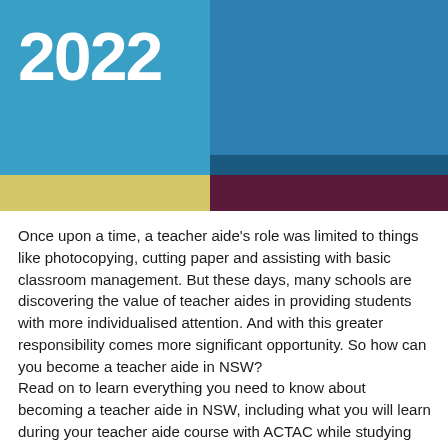[Figure (photo): Header image with blue teal background and decorative colored blocks. Large white bold '2022' text overlaid on the left portion.]
2022
Once upon a time, a teacher aide's role was limited to things like photocopying, cutting paper and assisting with basic classroom management. But these days, many schools are discovering the value of teacher aides in providing students with more individualised attention. And with this greater responsibility comes more significant opportunity. So how can you become a teacher aide in NSW?
Read on to learn everything you need to know about becoming a teacher aide in NSW, including what you will learn during your teacher aide course with ACTAC while studying online with ACTAC.